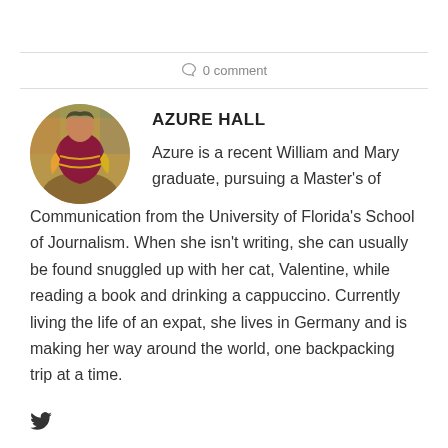0 comment
[Figure (photo): Circular profile photo of Azure Hall, a woman in colorful traditional/festive dress with a market or fair background]
AZURE HALL
Azure is a recent William and Mary graduate, pursuing a Master's of Communication from the University of Florida's School of Journalism. When she isn't writing, she can usually be found snuggled up with her cat, Valentine, while reading a book and drinking a cappuccino. Currently living the life of an expat, she lives in Germany and is making her way around the world, one backpacking trip at a time.
[Figure (logo): Twitter bird icon (social media link)]